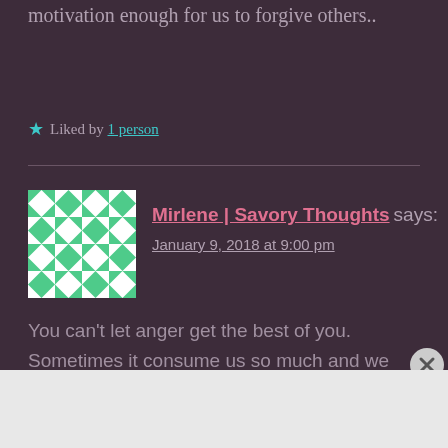motivation enough for us to forgive others..
★ Liked by 1 person
Mirlene | Savory Thoughts says:
January 9, 2018 at 9:00 pm
You can't let anger get the best of you. Sometimes it consume us so much and we don't even realize the damage it is causing. Unfortunately, it took a year for to come to terms with but the revelation is what's important. You're strong for doing this this,
[Figure (screenshot): WordPress.com advertisement banner with logo on left and 'Build Your Website' pink button on right, on a blue background. Labeled 'Advertisements' above.]